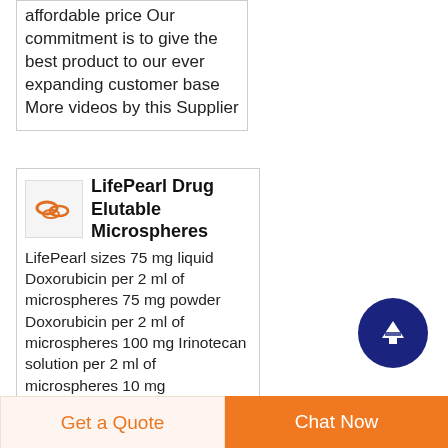affordable price Our commitment is to give the best product to our ever expanding customer base More videos by this Supplier
LifePearl Drug Elutable Microspheres
[Figure (photo): Small product image showing orange/red pills or microspheres on a white background]
LifePearl sizes 75 mg liquid Doxorubicin per 2 ml of microspheres 75 mg powder Doxorubicin per 2 ml of microspheres 100 mg Irinotecan solution per 2 ml of microspheres 10 mg
Get a Quote
Chat Now